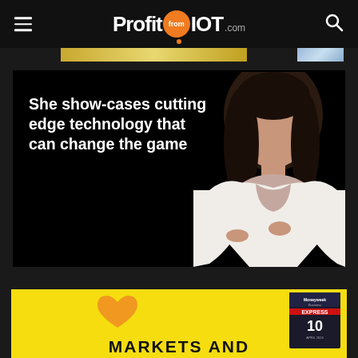ProfitfromIOT.com
[Figure (photo): Advertisement banner strip at top, gold/blue gradient colors]
[Figure (photo): Black background image of a woman in white blazer with arms crossed, with white bold text overlay reading: She show-cases cutting edge technology that can change the game]
[Figure (photo): Yellow advertisement banner at bottom with orange heart shape, Moneyweek Express magazine cover, and partial text MARKETS AND]